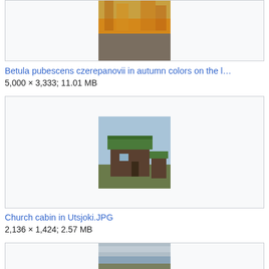[Figure (photo): Autumn colored trees (birch) on rocky landscape, partially cropped at top]
Betula pubescens czerepanovii in autumn colors on the l…
5,000 × 3,333; 11.01 MB
[Figure (photo): Traditional Nordic log cabin with grass/sod roof near a lake, Utsjoki]
Church cabin in Utsjoki.JPG
2,136 × 1,424; 2.57 MB
[Figure (photo): Landscape photo, partially cropped at bottom of page]